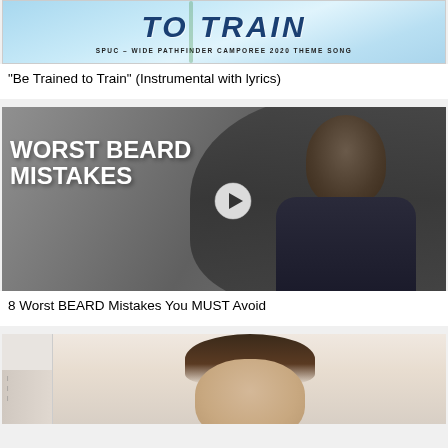[Figure (screenshot): Thumbnail image for 'Be Trained to Train' SPUC-Wide Pathfinder Camporee 2020 Theme Song video, showing stylized text on a light blue background]
"Be Trained to Train" (Instrumental with lyrics)
[Figure (screenshot): Video thumbnail for '8 Worst BEARD Mistakes You MUST Avoid' showing a man in a denim jacket with bold white text overlaid and a play button]
8 Worst BEARD Mistakes You MUST Avoid
[Figure (photo): Partial thumbnail of a third video showing a person from the shoulders up, partially visible at the bottom of the page]